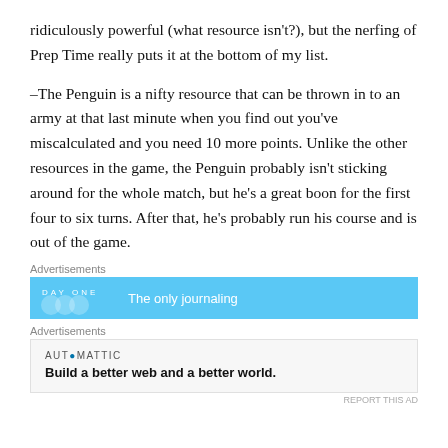ridiculously powerful (what resource isn't?), but the nerfing of Prep Time really puts it at the bottom of my list.
–The Penguin is a nifty resource that can be thrown in to an army at that last minute when you find out you've miscalculated and you need 10 more points. Unlike the other resources in the game, the Penguin probably isn't sticking around for the whole match, but he's a great boon for the first four to six turns. After that, he's probably run his course and is out of the game.
Advertisements
[Figure (screenshot): Day One app advertisement banner with light blue background showing 'DAY ONE' text and 'The only journaling' text]
Advertisements
[Figure (screenshot): Automattic advertisement showing logo and tagline 'Build a better web and a better world.']